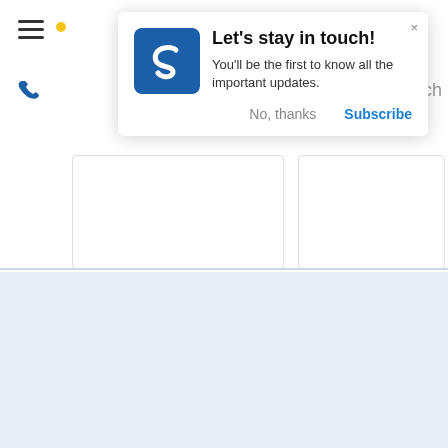[Figure (screenshot): Mobile website screenshot showing a push notification popup with 'Let's stay in touch!' message, a logo with letter S, and a newsletter signup section at the bottom.]
Let's stay in touch!
You'll be the first to know all the important updates.
No, thanks
Subscribe
FOR EXCLUSIVE OFFERS...
Enter your email address
SIGN ME UP!